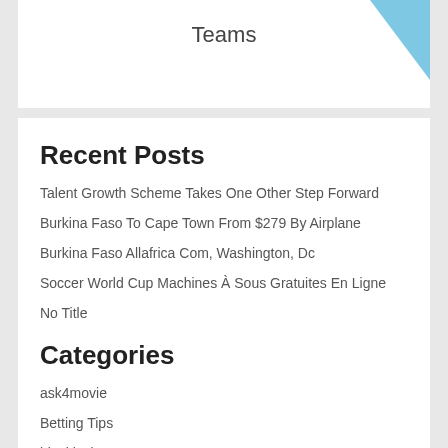Teams
Recent Posts
Talent Growth Scheme Takes One Other Step Forward
Burkina Faso To Cape Town From $279 By Airplane
Burkina Faso Allafrica Com, Washington, Dc
Soccer World Cup Machines À Sous Gratuites En Ligne
No Title
Categories
ask4movie
Betting Tips
blackjack
Football Tips